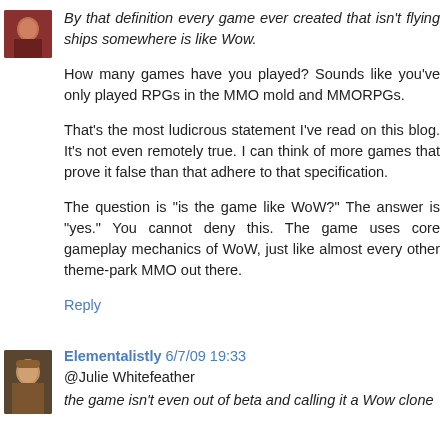[Figure (photo): Small avatar image of a person, reddish tones, top-left corner]
By that definition every game ever created that isn't flying ships somewhere is like Wow.
How many games have you played? Sounds like you've only played RPGs in the MMO mold and MMORPGs.
That's the most ludicrous statement I've read on this blog. It's not even remotely true. I can think of more games that prove it false than that adhere to that specification.
The question is "is the game like WoW?" The answer is "yes." You cannot deny this. The game uses core gameplay mechanics of WoW, just like almost every other theme-park MMO out there.
Reply
[Figure (photo): Small avatar image of a fantasy character, brownish tones]
Elementalistly 6/7/09 19:33
@Julie Whitefeather
the game isn't even out of beta and calling it a Wow clone